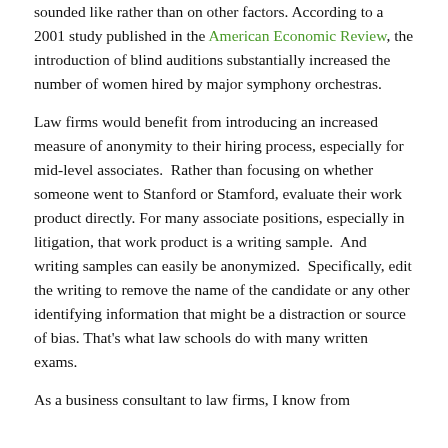sounded like rather than on other factors. According to a 2001 study published in the American Economic Review, the introduction of blind auditions substantially increased the number of women hired by major symphony orchestras.
Law firms would benefit from introducing an increased measure of anonymity to their hiring process, especially for mid-level associates.  Rather than focusing on whether someone went to Stanford or Stamford, evaluate their work product directly. For many associate positions, especially in litigation, that work product is a writing sample.  And writing samples can easily be anonymized.  Specifically, edit the writing to remove the name of the candidate or any other identifying information that might be a distraction or source of bias. That's what law schools do with many written exams.
As a business consultant to law firms, I know from